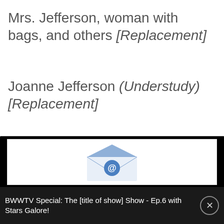Mrs. Jefferson, woman with bags, and others [Replacement]
Joanne Jefferson (Understudy) [Replacement]
[Figure (illustration): Email envelope icon with @ symbol, blue and white colors, shown partially in a white box area]
BWWTV Special: The [title of show] Show - Ep.6 with Stars Galore!